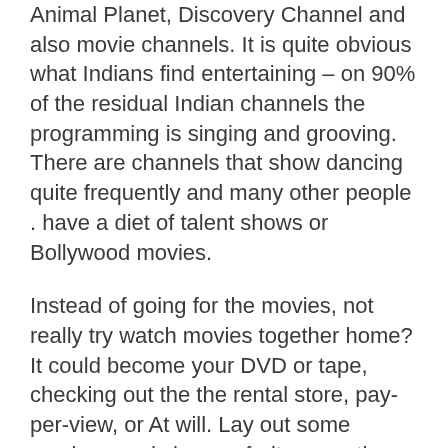Animal Planet, Discovery Channel and also movie channels. It is quite obvious what Indians find entertaining – on 90% of the residual Indian channels the programming is singing and grooving. There are channels that show dancing quite frequently and many other people . have a diet of talent shows or Bollywood movies.
Instead of going for the movies, not really try watch movies together home? It could become your DVD or tape, checking out the the rental store, pay-per-view, or At will. Lay out some crackers and cheese, fruit, or another snack that includes to the romance. Decide on a romantic player.action flicks won't due on V-Day.
Another possible source of anxiety for your first spa visit is subject of of showing. You may not just how to much to tip or maybe if the tip is included in your costs. Generally, tipping fifteen to twenty percent of your bill is suitable. Even if understand not fully enjoy a therapist's